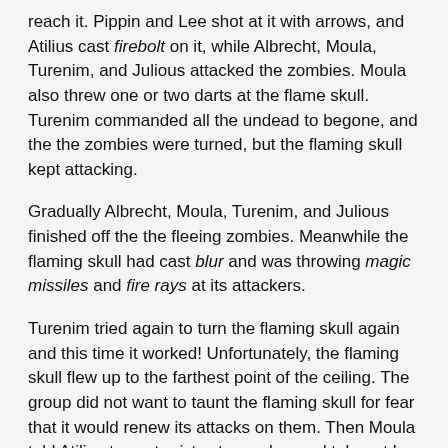reach it. Pippin and Lee shot at it with arrows, and Atilius cast firebolt on it, while Albrecht, Moula, Turenim, and Julious attacked the zombies. Moula also threw one or two darts at the flame skull. Turenim commanded all the undead to begone, and the the zombies were turned, but the flaming skull kept attacking.
Gradually Albrecht, Moula, Turenim, and Julious finished off the the fleeing zombies. Meanwhile the flaming skull had cast blur and was throwing magic missiles and fire rays at its attackers.
Turenim tried again to turn the flaming skull again and this time it worked! Unfortunately, the flaming skull flew up to the farthest point of the ceiling. The group did not want to taunt the flaming skull for fear that it would renew its attacks on them. Then Moula told Atilius to cast misty step on her and teleport her up to the level of the flame skull. She readied herself, but when Atilius cast the spell, it only took one hit to kill the flame skull. She hit it two more times as it fell to the ground, but the fight was over!